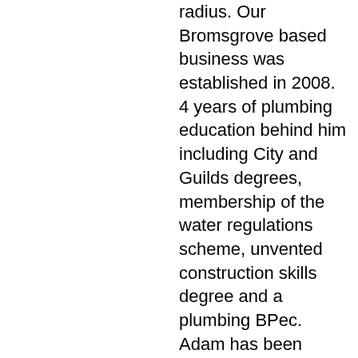radius. Our Bromsgrove based business was established in 2008. 4 years of plumbing education behind him including City and Guilds degrees, membership of the water regulations scheme, unvented construction skills degree and a plumbing BPec. Adam has been trading as a plumber for the last 5 years. Adam Wainman Plumbing Services Bromsgrove cover a large range of general plumbing services for individuals, homeowners and companies alike. no job is to much trouble for our dedicated team. We meet all